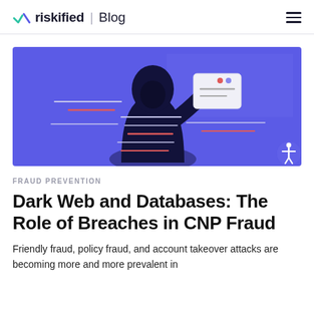riskified | Blog
[Figure (illustration): Dark illustration of a hooded figure holding a credit card envelope, with horizontal lines and red accent marks on a purple/blue background. Represents identity theft and CNP fraud.]
FRAUD PREVENTION
Dark Web and Databases: The Role of Breaches in CNP Fraud
Friendly fraud, policy fraud, and account takeover attacks are becoming more and more prevalent in